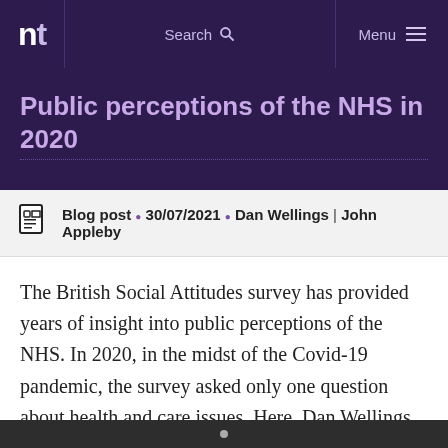nt | Search | Menu
Public perceptions of the NHS in 2020
Blog post • 30/07/2021 • Dan Wellings | John Appleby
The British Social Attitudes survey has provided years of insight into public perceptions of the NHS. In 2020, in the midst of the Covid-19 pandemic, the survey asked only one question about health and care issues. Here, Dan Wellings and John Appleby share the data collected.